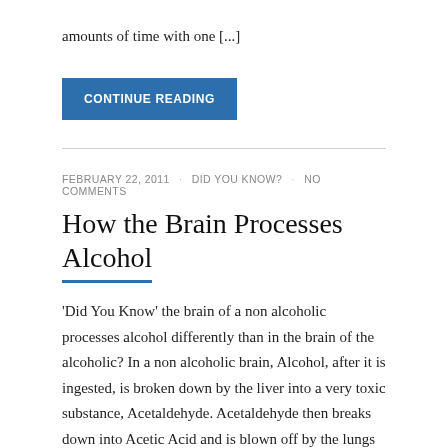amounts of time with one [...]
CONTINUE READING
FEBRUARY 22, 2011 · DID YOU KNOW? · NO COMMENTS
How the Brain Processes Alcohol
'Did You Know' the brain of a non alcoholic processes alcohol differently than in the brain of the alcoholic? In a non alcoholic brain, Alcohol, after it is ingested, is broken down by the liver into a very toxic substance, Acetaldehyde.  Acetaldehyde then breaks down into Acetic Acid and is blown off by the lungs as [...]
CONTINUE READING